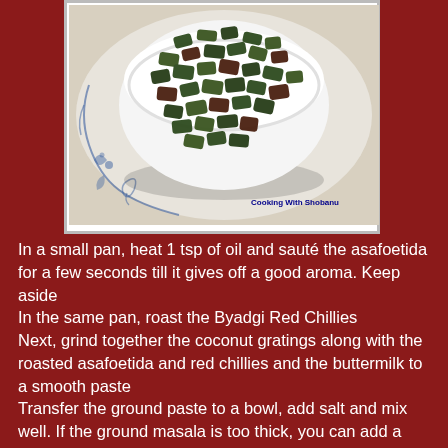[Figure (photo): A white bowl filled with roasted/dried dark green and brown okra pieces, placed on a blue and white decorative plate. The image has a watermark 'Cooking With Shobanu' in the bottom right.]
In a small pan, heat 1 tsp of oil and sauté the asafoetida for a few seconds till it gives off a good aroma. Keep aside
In the same pan, roast the Byadgi Red Chillies
Next, grind together the coconut gratings along with the roasted asafoetida and red chillies and the buttermilk to a smooth paste
Transfer the ground paste to a bowl, add salt and mix well. If the ground masala is too thick, you can add a little water